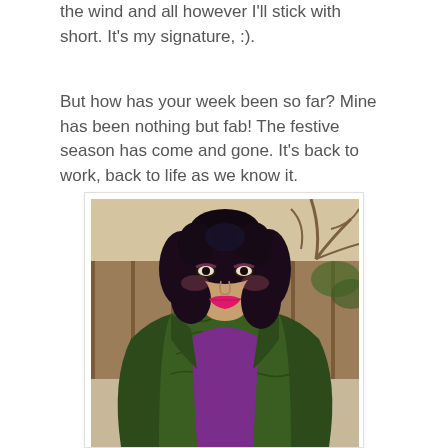the wind and all however I'll stick with short. It's my signature, :).
But how has your week been so far? Mine has been nothing but fab! The festive season has come and gone. It's back to work, back to life as we know it.
[Figure (photo): A woman with dark curly hair and bright pink/magenta lipstick, wearing a dark green fur coat over a purple top, photographed outdoors with bare trees in the background.]